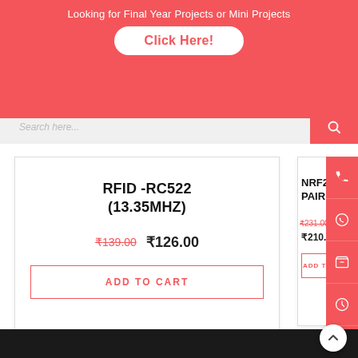Looking for Final Year Projects or Mini Projects
Click Here!
Search here...
RFID -RC522 (13.35MHZ)
₹139.00  ₹126.00
ADD TO CART
NRF24L01 PAIR
₹231.00  ₹210.00
ADD TO CART